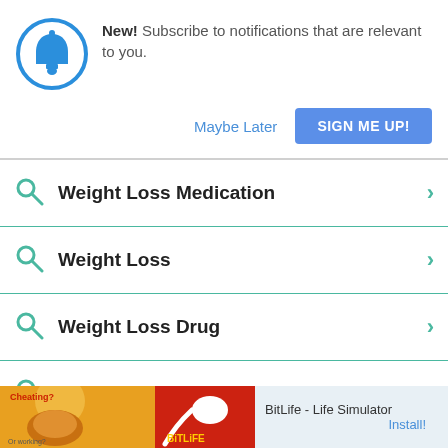[Figure (screenshot): Notification banner with blue bell icon in a circle, text 'New! Subscribe to notifications that are relevant to you.' with 'Maybe Later' link and 'SIGN ME UP!' blue button]
Weight Loss Medication
Weight Loss
Weight Loss Drug
Anxiety Medication
[Figure (screenshot): Ad banner at bottom: 'Ad' label, BitLife - Life Simulator advertisement with orange/red imagery and Install! link]